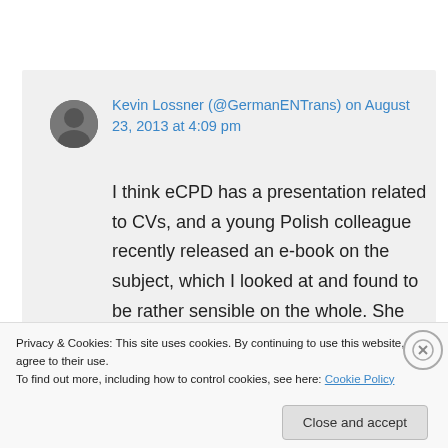Kevin Lossner (@GermanENTrans) on August 23, 2013 at 4:09 pm
I think eCPD has a presentation related to CVs, and a young Polish colleague recently released an e-book on the subject, which I looked at and found to be rather sensible on the whole. She taught a course on that through eCPD, so you can probably find all
Privacy & Cookies: This site uses cookies. By continuing to use this website, you agree to their use.
To find out more, including how to control cookies, see here: Cookie Policy
Close and accept